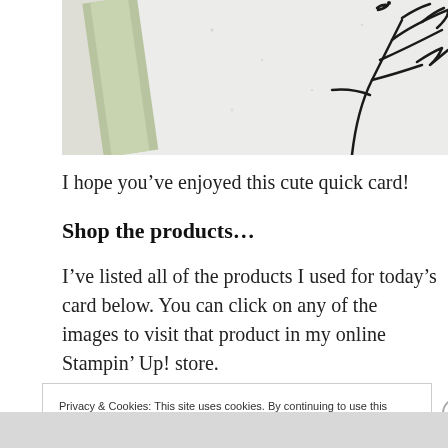[Figure (photo): Partial photo of a handmade card showing a green layered edge and a stamped black ink branch/tree design on white glittery paper]
I hope you’ve enjoyed this cute quick card!
Shop the products…
I’ve listed all of the products I used for today’s card below. You can click on any of the images to visit that product in my online Stampin’ Up! store.
Privacy & Cookies: This site uses cookies. By continuing to use this website, you agree to their use.
To find out more, including how to control cookies, see here: Cookie Policy
Close and accept